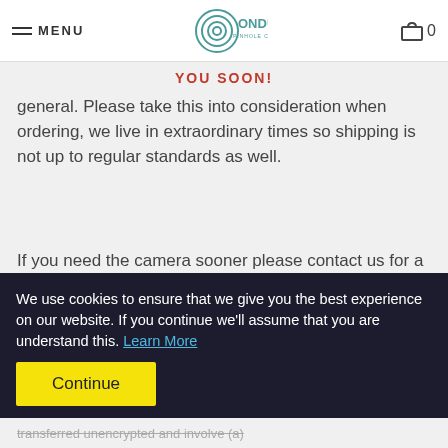MENU | ONDU PINHOLE CAMERAS | 0
YOU SOON!
general. Please take this into consideration when ordering, we live in extraordinary times so shipping is not up to regular standards as well.
If you need the camera sooner please contact us for a possibility of shipping with DHL with extra costs.
SECTION 2 - GENERAL CONDITIONS
We use cookies to ensure that we give you the best experience on our website. If you continue we'll assume that you are understand this. Learn More
Continue
transferred unencrypted and involve (a)